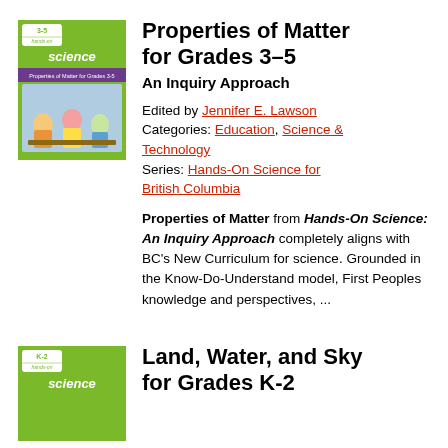[Figure (illustration): Book cover for 'Properties of Matter for Grades 3-5, Hands-On Science: An Inquiry Approach' — green cover with children doing science activities]
Properties of Matter for Grades 3–5
An Inquiry Approach
Edited by Jennifer E. Lawson
Categories: Education, Science & Technology
Series: Hands-On Science for British Columbia
Properties of Matter from Hands-On Science: An Inquiry Approach completely aligns with BC's New Curriculum for science. Grounded in the Know-Do-Understand model, First Peoples knowledge and perspectives, ...
[Figure (illustration): Book cover for 'Land, Water, and Sky for Grades K-2, Hands-On Science' — green cover]
Land, Water, and Sky for Grades K-2